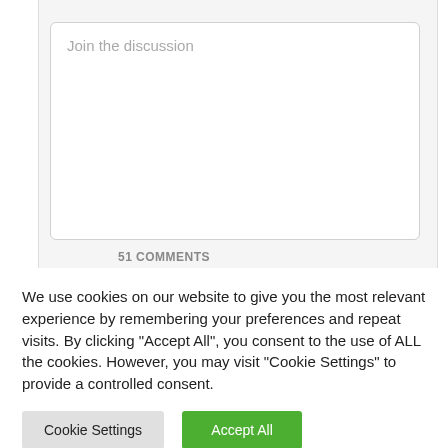[Figure (screenshot): A webpage comment input area showing a textarea with placeholder text 'Join the discussion', and a section heading '51 COMMENTS' partially visible at the bottom.]
51 COMMENTS
We use cookies on our website to give you the most relevant experience by remembering your preferences and repeat visits. By clicking "Accept All", you consent to the use of ALL the cookies. However, you may visit "Cookie Settings" to provide a controlled consent.
Cookie Settings
Accept All